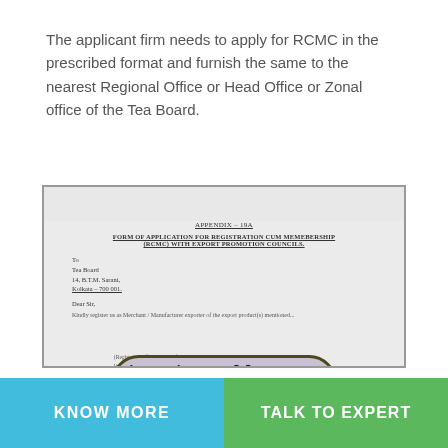The applicant firm needs to apply for RCMC in the prescribed format and furnish the same to the nearest Regional Office or Head Office or Zonal office of the Tea Board.
[Figure (screenshot): Scanned image of APPENDIX-19A: Form of Application for Registration Cum Membership (RCMC) with Export Promotion Councils, addressed to Tea Board, 14 B.T.M. Sarani, Kolkata-700 001, with a 'View in Full Screen' button overlay and partial form content visible.]
KNOW MORE
TALK TO EXPERT